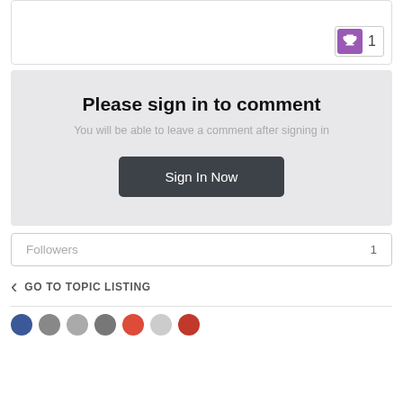[Figure (screenshot): Card top with trophy icon and count 1]
Please sign in to comment
You will be able to leave a comment after signing in
Sign In Now
Followers 1
GO TO TOPIC LISTING